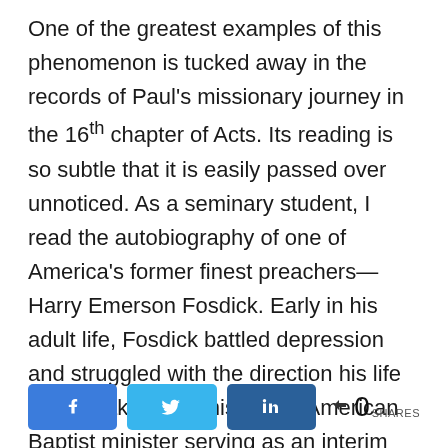One of the greatest examples of this phenomenon is tucked away in the records of Paul's missionary journey in the 16th chapter of Acts. Its reading is so subtle that it is easily passed over unnoticed. As a seminary student, I read the autobiography of one of America's former finest preachers—Harry Emerson Fosdick. Early in his adult life, Fosdick battled depression and struggled with the direction his life should take. As a misplaced American Baptist minister serving as an interim
[Figure (infographic): Social sharing bar with Facebook, Twitter, LinkedIn buttons and a share count of 0]